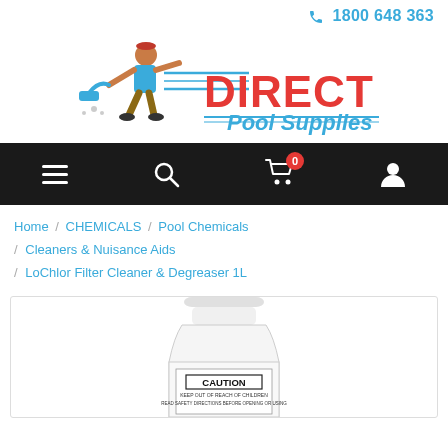1800 648 363
[Figure (logo): Direct Pool Supplies logo with running man carrying pool equipment, red bold DIRECT text and blue Pool Supplies text with speed lines]
[Figure (screenshot): Navigation bar with hamburger menu, search, cart with 0 badge, and user account icons on black background]
Home / CHEMICALS / Pool Chemicals / Cleaners & Nuisance Aids / LoChlor Filter Cleaner & Degreaser 1L
[Figure (photo): LoChlor Filter Cleaner & Degreaser 1L white plastic bottle with CAUTION label visible, partially cropped at bottom]